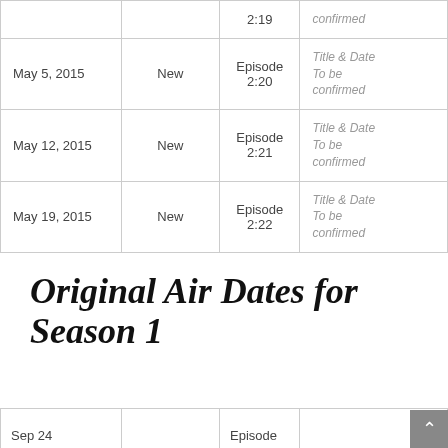| Date | Type | Episode | Title |
| --- | --- | --- | --- |
|  |  | Episode 2:19 | Title & Date To be confirmed |
| May 5, 2015 | New | Episode 2:20 | Title & Date To be confirmed |
| May 12, 2015 | New | Episode 2:21 | Title & Date To be confirmed |
| May 19, 2015 | New | Episode 2:22 | Title & Date To be confirmed |
Original Air Dates for Season 1
| Date | Type | Episode | Title |
| --- | --- | --- | --- |
| Sep 24 |  | Episode |  |